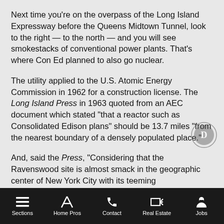Next time you're on the overpass of the Long Island Expressway before the Queens Midtown Tunnel, look to the right — to the north — and you will see smokestacks of conventional power plants. That's where Con Ed planned to also go nuclear.
The utility applied to the U.S. Atomic Energy Commission in 1962 for a construction license. The Long Island Press in 1963 quoted from an AEC document which stated "that a reactor such as Consolidated Edison plans" should be 13.7 miles "from the nearest boundary of a densely populated place."
And, said the Press, "Considering that the Ravenswood site is almost smack in the geographic center of New York City with its teeming millions...opposition to it is understandable to say
Sections   Home Pros   Contact   Real Estate   Jobs